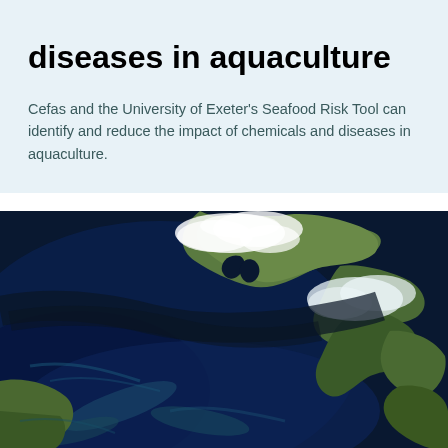diseases in aquaculture
Cefas and the University of Exeter's Seafood Risk Tool can identify and reduce the impact of chemicals and diseases in aquaculture.
[Figure (photo): Satellite image showing the North Sea and surrounding European coastline including Scandinavia and the UK, with deep blue ocean waters, green landmasses, and white cloud formations visible from space.]